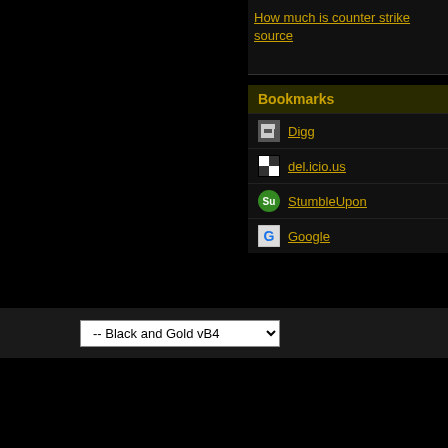How much is counter strike source
Bookmarks
Digg
del.icio.us
StumbleUpon
Google
-- Black and Gold vB4